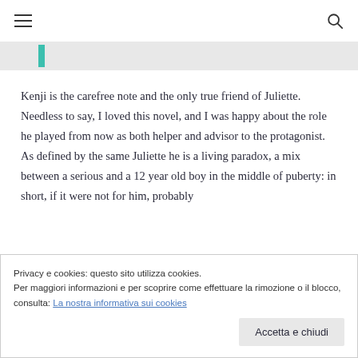[hamburger menu icon] [search icon]
[Figure (other): Teal vertical bar on grey background strip]
Kenji is the carefree note and the only true friend of Juliette. Needless to say, I loved this novel, and I was happy about the role he played from now as both helper and advisor to the protagonist. As defined by the same Juliette he is a living paradox, a mix between a serious and a 12 year old boy in the middle of puberty: in short, if it were not for him, probably
Privacy e cookies: questo sito utilizza cookies.
Per maggiori informazioni e per scoprire come effettuare la rimozione o il blocco, consulta: La nostra informativa sui cookies
Accetta e chiudi